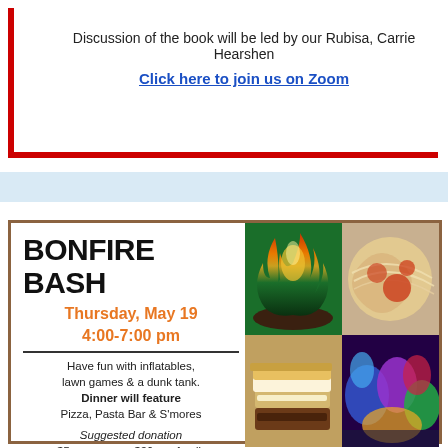Discussion of the book will be led by our Rubisa, Carrie Hearshen
Click here to join us on Zoom
BONFIRE BASH
Thursday, May 19
4:00-7:00 pm
Have fun with inflatables, lawn games & a dunk tank. Dinner will feature Pizza, Pasta Bar & S'mores
Suggested donation
$5 per person, $20 per family
Sign up at
orveshalom.org/event/bonfire
[Figure (photo): Bonfire flame outdoors]
[Figure (photo): Pizza and pasta food]
[Figure (photo): S'mores closeup]
[Figure (photo): Colorful inflatables]